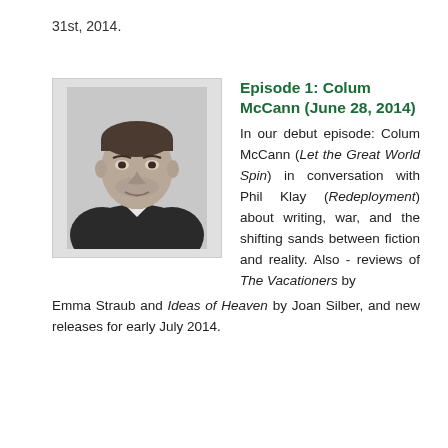31st, 2014.
Episode 1: Colum McCann (June 28, 2014)
[Figure (photo): Black and white headshot photo of Colum McCann, a man in a dark jacket with white shirt, looking directly at camera.]
In our debut episode: Colum McCann (Let the Great World Spin) in conversation with Phil Klay (Redeployment) about writing, war, and the shifting sands between fiction and reality. Also - reviews of The Vacationers by Emma Straub and Ideas of Heaven by Joan Silber, and new releases for early July 2014.